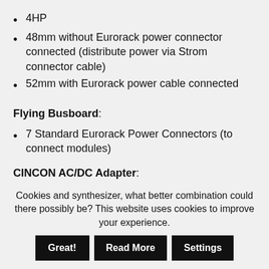4HP
48mm without Eurorack power connector connected (distribute power via Strom connector cable)
52mm with Eurorack power cable connected
Flying Busboard:
7 Standard Eurorack Power Connectors (to connect modules)
CINCON AC/DC Adapter:
Cookies and synthesizer, what better combination could there possibly be? This website uses cookies to improve your experience.